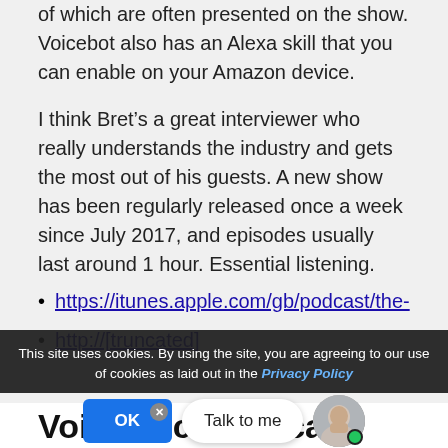of which are often presented on the show. Voicebot also has an Alexa skill that you can enable on your Amazon device.
I think Bret’s a great interviewer who really understands the industry and gets the most out of his guests. A new show has been regularly released once a week since July 2017, and episodes usually last around 1 hour. Essential listening.
https://itunes.apple.com/gb/podcast/the-
http://[truncated]
This site uses cookies. By using the site, you are agreeing to our use of cookies as laid out in the Privacy Policy
Voice Tech Podcast